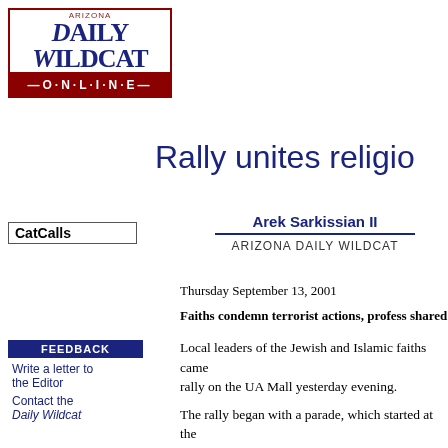[Figure (logo): Arizona Daily Wildcat Online logo — red border, dark blue serif masthead text, red banner with ONLINE in white]
Rally unites religio
CatCalls
Arek Sarkissian II
ARIZONA DAILY WILDCAT
Thursday September 13, 2001
Faiths condemn terrorist actions, profess shared
FEEDBACK
Write a letter to the Editor
Contact the Daily Wildcat
Local leaders of the Jewish and Islamic faiths came rally on the UA Mall yesterday evening.
The rally began with a parade, which started at the of Tucson, 901 E. First St. Imam and director of the Shahin led a parade of Jewish, Christian and Islamic